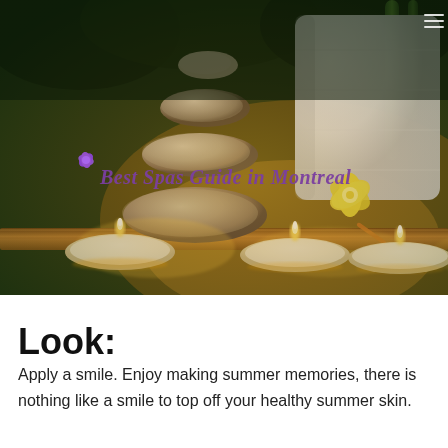[Figure (photo): Spa scene with stacked zen stones, lit candles on a bamboo tray, a white rolled towel, a yellow orchid flower, and a 'Best Spas Guide in Montreal' watermark logo with a purple flower icon. Warm candlelight glow in a dark atmospheric background.]
Look:
Apply a smile. Enjoy making summer memories, there is nothing like a smile to top off your healthy summer skin.